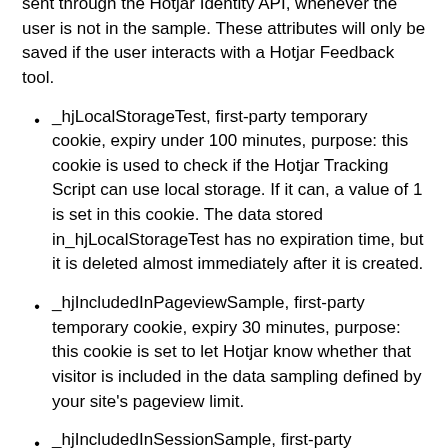sent through the Hotjar Identity API, whenever the user is not in the sample. These attributes will only be saved if the user interacts with a Hotjar Feedback tool.
_hjLocalStorageTest, first-party temporary cookie, expiry under 100 minutes, purpose: this cookie is used to check if the Hotjar Tracking Script can use local storage. If it can, a value of 1 is set in this cookie. The data stored in_hjLocalStorageTest has no expiration time, but it is deleted almost immediately after it is created.
_hjIncludedInPageviewSample, first-party temporary cookie, expiry 30 minutes, purpose: this cookie is set to let Hotjar know whether that visitor is included in the data sampling defined by your site's pageview limit.
_hjIncludedInSessionSample, first-party temporary cookie, expiry 30 minutes, purpose: this cookie is set to let Hotjar know whether that visitor is included in